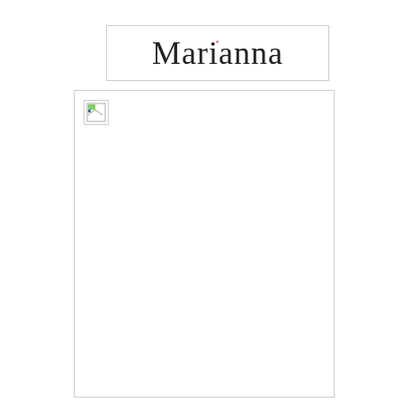Marianna
[Figure (photo): A large image placeholder with a broken image icon in the top-left corner, mostly white/empty content area with a light gray border.]